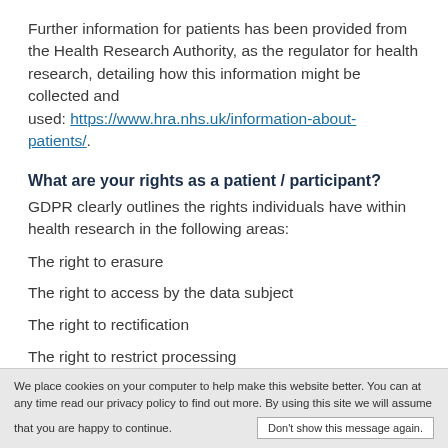Further information for patients has been provided from the Health Research Authority, as the regulator for health research, detailing how this information might be collected and used: https://www.hra.nhs.uk/information-about-patients/.
What are your rights as a patient / participant?
GDPR clearly outlines the rights individuals have within health research in the following areas:
The right to erasure
The right to access by the data subject
The right to rectification
The right to restrict processing
We place cookies on your computer to help make this website better. You can at any time read our privacy policy to find out more. By using this site we will assume that you are happy to continue. Don't show this message again.